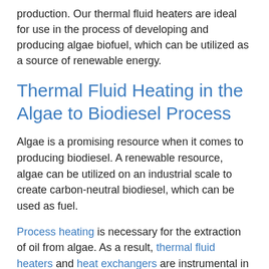production. Our thermal fluid heaters are ideal for use in the process of developing and producing algae biofuel, which can be utilized as a source of renewable energy.
Thermal Fluid Heating in the Algae to Biodiesel Process
Algae is a promising resource when it comes to producing biodiesel. A renewable resource, algae can be utilized on an industrial scale to create carbon-neutral biodiesel, which can be used as fuel.
Process heating is necessary for the extraction of oil from algae. As a result, thermal fluid heaters and heat exchangers are instrumental in facilitating the production of algal biofuel.
Organizations interested in exploring this unique alternative fuel source have turned to the process heating